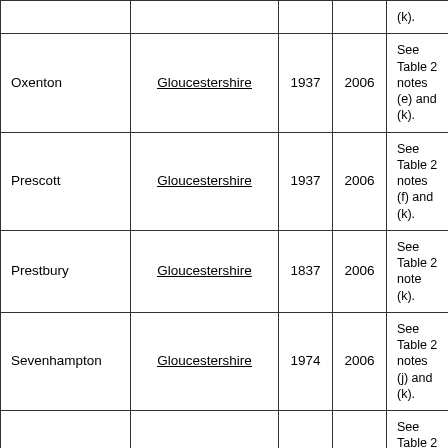|  |  |  |  |  |
| --- | --- | --- | --- | --- |
|  |  |  |  | (k). |
| Oxenton | Gloucestershire | 1937 | 2006 | See Table 2 notes (e) and (k). |
| Prescott | Gloucestershire | 1937 | 2006 | See Table 2 notes (f) and (k). |
| Prestbury | Gloucestershire | 1837 | 2006 | See Table 2 note (k). |
| Sevenhampton | Gloucestershire | 1974 | 2006 | See Table 2 notes (j) and (k). |
| Sherborne | Gloucestershire | 1974 | 2006 | See Table 2 notes (j) and (k). |
| Shipton | Gloucestershire | 1974 | 2006 | See Table 2 notes (j) and (k). |
| Shurdington | Gloucestershire | 1837 | 2006 | See Table 2 note (k). |
| Snowshill | Gloucestershire | 1937 | 2006 | See Table 2 notes (f) and (k). |
|  |  |  |  |  |